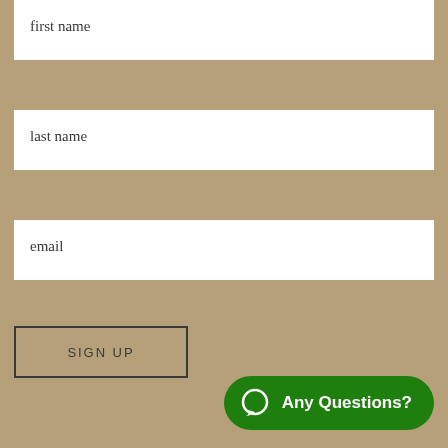first name
last name
email
SIGN UP
Any Questions?